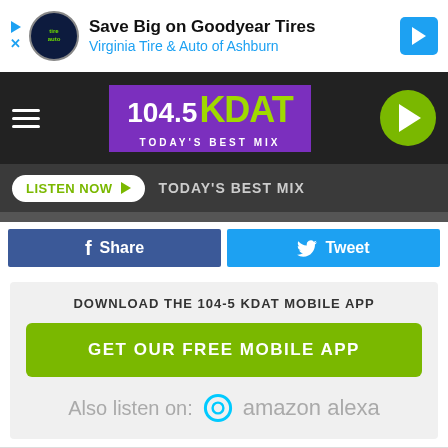[Figure (screenshot): Goodyear Tires advertisement banner: Save Big on Goodyear Tires, Virginia Tire & Auto of Ashburn]
[Figure (logo): 104.5 KDAT Today's Best Mix radio station logo with navigation bar and play button]
LISTEN NOW   TODAY'S BEST MIX
Share   Tweet
DOWNLOAD THE 104-5 KDAT MOBILE APP
GET OUR FREE MOBILE APP
Also listen on:  amazon alexa
McElligot's Pool
On Bey
Scram
[Figure (screenshot): Goodyear Tire Promotion advertisement: Virginia Tire & Auto of Ashburn]